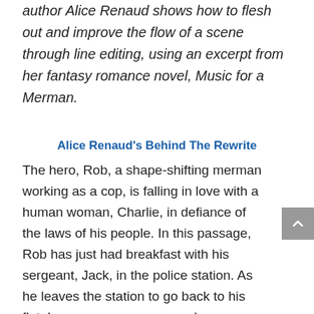author Alice Renaud shows how to flesh out and improve the flow of a scene through line editing, using an excerpt from her fantasy romance novel, Music for a Merman.
Alice Renaud's Behind The Rewrite
The hero, Rob, a shape-shifting merman working as a cop, is falling in love with a human woman, Charlie, in defiance of the laws of his people. In this passage, Rob has just had breakfast with his sergeant, Jack, in the police station. As he leaves the station to go back to his flat, he composes a merman love song for Charlie.